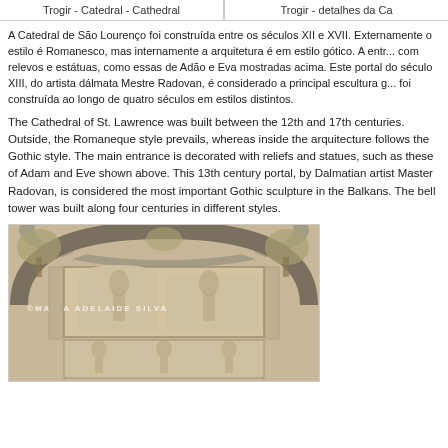Trogir - Catedral - Cathedral  |  Trogir - detalhes da Ca...
A Catedral de São Lourenço foi construída entre os séculos XII e XVII. Externamente o estilo é Romanesco, mas internamente a arquitetura é em estilo gótico. A entrada principal é decorada com relevos e estátuas, como essas de Adão e Eva mostradas acima. Este portal do século XIII, do artista dálmata Mestre Radovan, é considerado a principal escultura gótica nos Balcãs. A torre foi construída ao longo de quatro séculos em estilos distintos.
The Cathedral of St. Lawrence was built between the 12th and 17th centuries. Outside, the Romaneque style prevails, whereas inside the arquitecture follows the Gothic style. The main entrance is decorated with reliefs and statues, such as these of Adam and Eve shown above. This 13th century portal, by Dalmatian artist Master Radovan, is considered the most important Gothic sculpture in the Balkans. The bell tower was built along four centuries in different styles.
[Figure (photo): Stone relief sculpture from the Cathedral of St. Lawrence in Trogir, showing carved figures and architectural details, with a watermark reading © MARIA ADELAIDE SILVA]